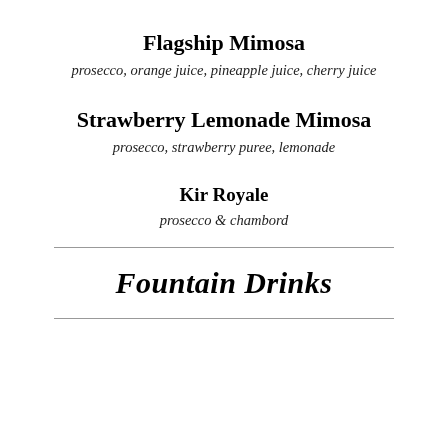Flagship Mimosa
prosecco, orange juice, pineapple juice, cherry juice
Strawberry Lemonade Mimosa
prosecco, strawberry puree, lemonade
Kir Royale
prosecco & chambord
Fountain Drinks